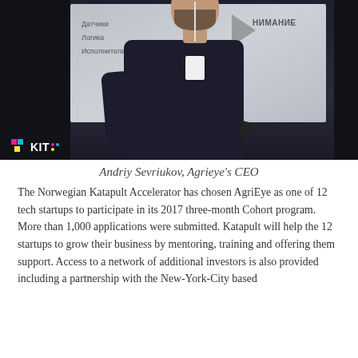[Figure (photo): Photo of Andriy Sevriukov, a man in a dark sweater with a conference badge/lanyard, presenting in front of a projection screen showing Cyrillic text and a triangle arrow graphic. KIT logo visible in lower left corner of photo.]
Andriy Sevriukov, Agrieye's CEO
The Norwegian Katapult Accelerator has chosen AgriEye as one of 12 tech startups to participate in its 2017 three-month Cohort program. More than 1,000 applications were submitted. Katapult will help the 12 startups to grow their business by mentoring, training and offering them support. Access to a network of additional investors is also provided including a partnership with the New-York-City based